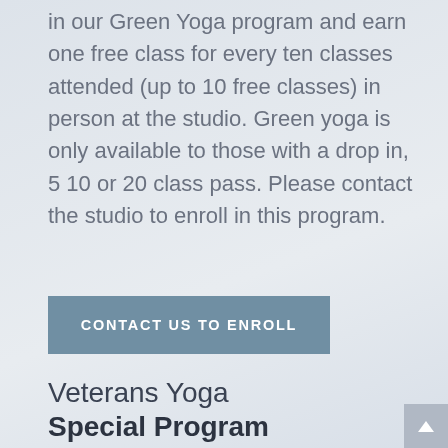in our Green Yoga program and earn one free class for every ten classes attended (up to 10 free classes) in person at the studio. Green yoga is only available to those with a drop in, 5 10 or 20 class pass. Please contact the studio to enroll in this program.
CONTACT US TO ENROLL
Veterans Yoga
Special Program
Note: Veterans can enroll in our Veterans Yoga program at a great promotional rate (including some